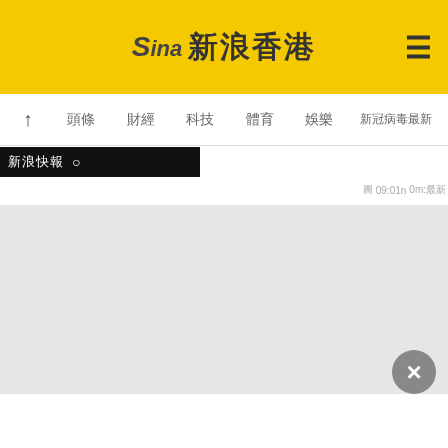Sina 新浪香港
☰
↑ 頭條 財經 科技 體育 娛樂 新冠病毒最新
[Figure (screenshot): Search bar with Chinese text on black background]
圖 09:01n 0m:最新
[Figure (screenshot): Main grey content area]
[Figure (other): Grey circular close/dismiss button with X icon]